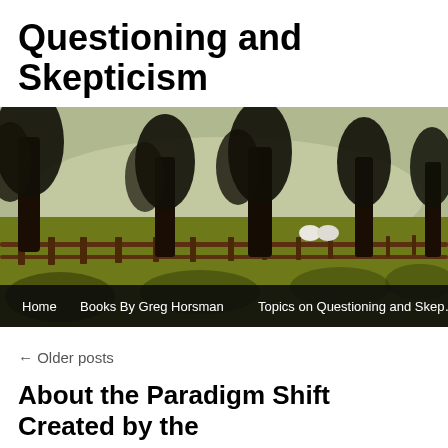Questioning and Skepticism
[Figure (photo): Outdoor scene with large trees in a row along a wooden fence on a green field, with two white sheep visible in the background. Navigation bar overlaid at bottom with links: Home, Books By Greg Horsman, Topics on Questioning and Skep…]
← Older posts
About the Paradigm Shift Created by the